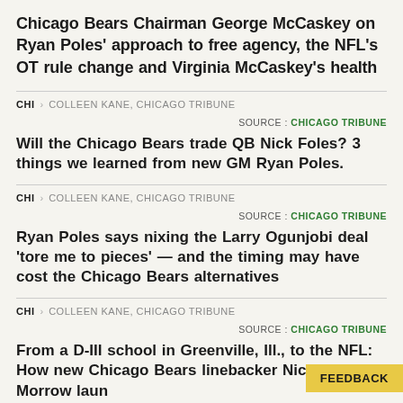Chicago Bears Chairman George McCaskey on Ryan Poles' approach to free agency, the NFL's OT rule change and Virginia McCaskey's health
CHI · COLLEEN KANE, CHICAGO TRIBUNE
SOURCE : CHICAGO TRIBUNE
Will the Chicago Bears trade QB Nick Foles? 3 things we learned from new GM Ryan Poles.
CHI · COLLEEN KANE, CHICAGO TRIBUNE
SOURCE : CHICAGO TRIBUNE
Ryan Poles says nixing the Larry Ogunjobi deal 'tore me to pieces' — and the timing may have cost the Chicago Bears alternatives
CHI · COLLEEN KANE, CHICAGO TRIBUNE
SOURCE : CHICAGO TRIBUNE
From a D-III school in Greenville, Ill., to the NFL: How new Chicago Bears linebacker Nicholas Morrow laun…m
FEEDBACK